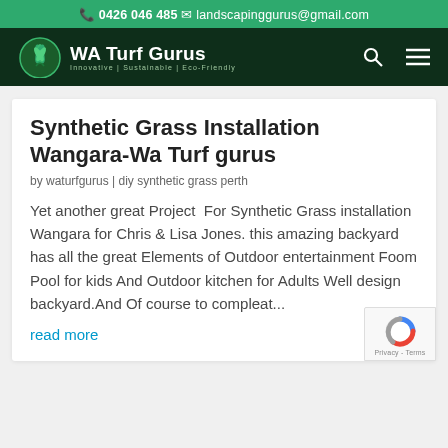0426 046 485   landscapinggurus@gmail.com
[Figure (logo): WA Turf Gurus logo with green plant/grass icon, white text on dark green navigation bar. Tagline: Innovative | Sustainable | Eco-Friendly]
Synthetic Grass Installation Wangara-Wa Turf gurus
by waturfgurus | diy synthetic grass perth
Yet another great Project  For Synthetic Grass installation Wangara for Chris & Lisa Jones. this amazing backyard has all the great Elements of Outdoor entertainment Foom Pool for kids And Outdoor kitchen for Adults Well design backyard.And Of course to compleat...
read more